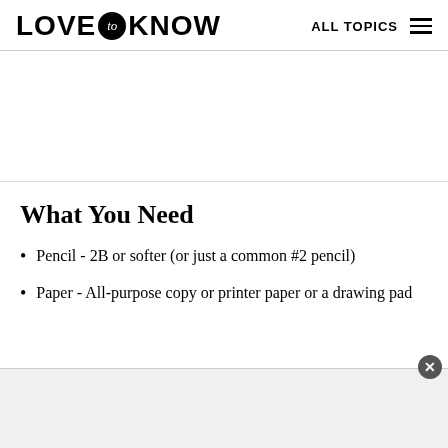LOVE to KNOW | ALL TOPICS
What You Need
Pencil - 2B or softer (or just a common #2 pencil)
Paper - All-purpose copy or printer paper or a drawing pad